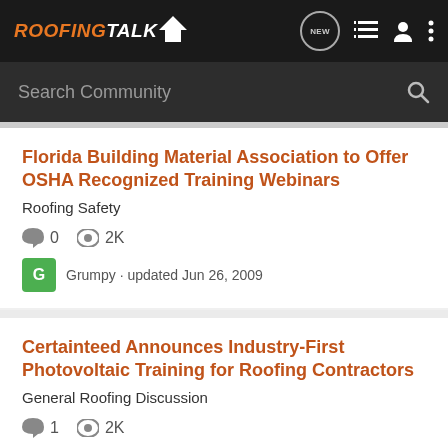RoofingTalk
Search Community
Florida Building Material Association to Offer OSHA Recognized Training Webinars
Roofing Safety
0  2K
Grumpy · updated Jun 26, 2009
Certainteed Announces Industry-First Photovoltaic Training for Roofing Contractors
General Roofing Discussion
1  2K
Grumpy · updated Sep 4, 2010